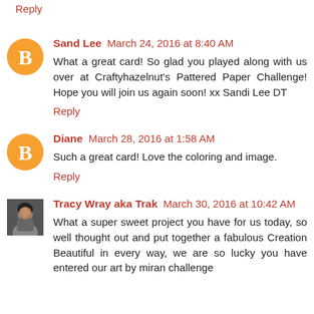Reply
Sand Lee  March 24, 2016 at 8:40 AM
What a great card! So glad you played along with us over at Craftyhazelnut's Pattered Paper Challenge! Hope you will join us again soon! xx Sandi Lee DT
Reply
Diane  March 28, 2016 at 1:58 AM
Such a great card! Love the coloring and image.
Reply
Tracy Wray aka Trak  March 30, 2016 at 10:42 AM
What a super sweet project you have for us today, so well thought out and put together a fabulous Creation Beautiful in every way, we are so lucky you have entered our art by miran challenge